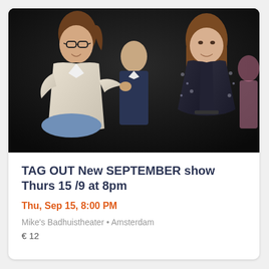[Figure (photo): Two women on a dark theatre stage smiling at each other; a man visible in the background; one woman on left wearing glasses and white jacket, seated, the other on right wearing a floral blazer; stage is dimly lit with black backdrop.]
TAG OUT New SEPTEMBER show Thurs 15 /9 at 8pm
Thu, Sep 15, 8:00 PM
Mike's Badhuistheater • Amsterdam
€ 12